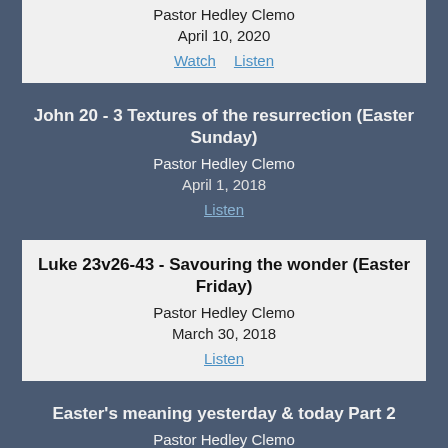Pastor Hedley Clemo
April 10, 2020
Watch  Listen
John 20 - 3 Textures of the resurrection (Easter Sunday)
Pastor Hedley Clemo
April 1, 2018
Listen
Luke 23v26-43 - Savouring the wonder (Easter Friday)
Pastor Hedley Clemo
March 30, 2018
Listen
Easter's meaning yesterday & today Part 2
Pastor Hedley Clemo
March 27, 2016
Watch  Listen